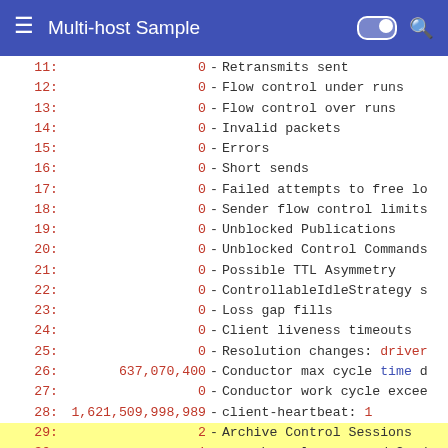Multi-host Sample
11: 0 - Retransmits sent
12: 0 - Flow control under runs
13: 0 - Flow control over runs
14: 0 - Invalid packets
15: 0 - Errors
16: 0 - Short sends
17: 0 - Failed attempts to free lo
18: 0 - Sender flow control limits
19: 0 - Unblocked Publications
20: 0 - Unblocked Control Commands
21: 0 - Possible TTL Asymmetry
22: 0 - ControllableIdleStrategy s
23: 0 - Loss gap fills
24: 0 - Client liveness timeouts
25: 0 - Resolution changes: driver
26: 637,070,400 - Conductor max cycle time d
27: 0 - Conductor work cycle excee
28: 1,621,509,998,989 - client-heartbeat: 1
29: 2 - Archive Control Sessions
30: 1 - rcv-channel: aeron:udp?end
31: 1 - rcv-local-sockaddr: 30 10.
32: 1 - snd-channel: aeron:udp?con